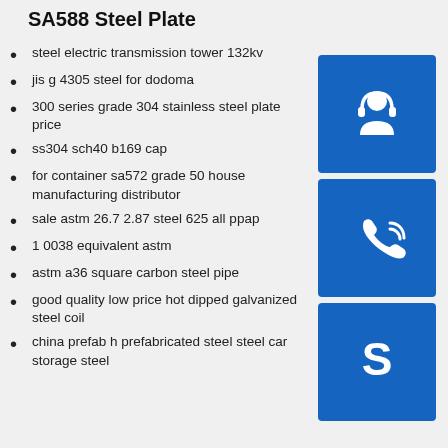SA588 Steel Plate
steel electric transmission tower 132kv
jis g 4305 steel for dodoma
300 series grade 304 stainless steel plate price
ss304 sch40 b169 cap
for container sa572 grade 50 house manufacturing distributor
sale astm 26.7 2.87 steel 625 all ppap
1 0038 equivalent astm
astm a36 square carbon steel pipe
good quality low price hot dipped galvanized steel coil
china prefab h prefabricated steel steel car storage steel
[Figure (infographic): Three blue icon buttons: headset/support icon, phone/call icon, Skype icon]